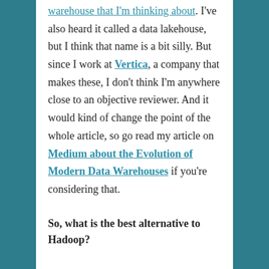warehouse that I'm thinking about. I've also heard it called a data lakehouse, but I think that name is a bit silly. But since I work at Vertica, a company that makes these, I don't think I'm anywhere close to an objective reviewer. And it would kind of change the point of the whole article, so go read my article on Medium about the Evolution of Modern Data Warehouses if you're considering that.
So, what is the best alternative to Hadoop?